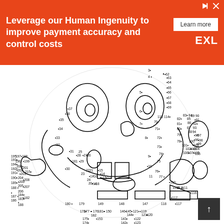[Figure (infographic): Orange advertisement banner for EXL with text: Leverage our Human Ingenuity to improve payment accuracy and control costs, with Learn more button and EXL logo]
[Figure (illustration): Connect-the-dots puzzle of SpongeBob SquarePants face with numbered dots from 1 to approximately 210, showing outline of cartoon character with eyes, nose, mouth with buck teeth, and surrounding numbered dots to connect]